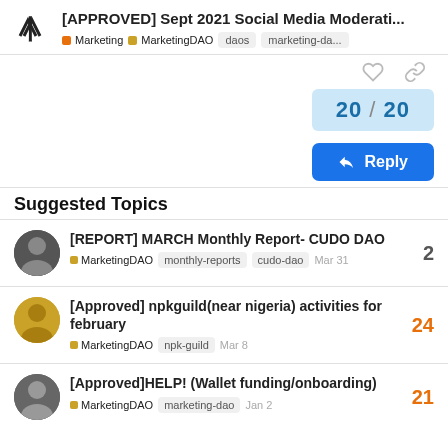[APPROVED] Sept 2021 Social Media Moderati...
Marketing  MarketingDAO  daos  marketing-da...
20 / 20
Reply
Suggested Topics
[REPORT] MARCH Monthly Report- CUDO DAO
MarketingDAO  monthly-reports  cudo-dao  Mar 31
Replies: 2
[Approved] npkguild(near nigeria) activities for february
MarketingDAO  npk-guild  Mar 8
Replies: 24
[Approved]HELP! (Wallet funding/onboarding)
MarketingDAO  marketing-dao  Jan 2
Replies: 21